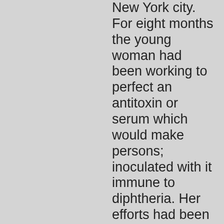New York city. For eight months the young woman had been working to perfect an antitoxin or serum which would make persons; inoculated with it immune to diphtheria. Her efforts had been closely observed by several leading bacteriologist and other scientists. Miss Mabie had been at the Polyclinic Hospital laboratories almost daily in those eight months and from early in the morning until late at night site had worked over her cultures and tubes. Perhaps, her friends say, it was this overwork that weakened her physical